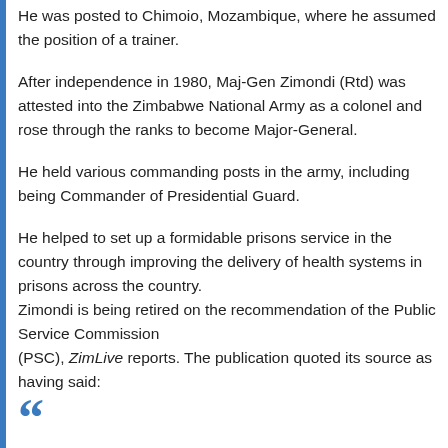He was posted to Chimoio, Mozambique, where he assumed the position of a trainer.
After independence in 1980, Maj-Gen Zimondi (Rtd) was attested into the Zimbabwe National Army as a colonel and rose through the ranks to become Major-General.
He held various commanding posts in the army, including being Commander of Presidential Guard.
He helped to set up a formidable prisons service in the country through improving the delivery of health systems in prisons across the country. Zimondi is being retired on the recommendation of the Public Service Commission (PSC), ZimLive reports. The publication quoted its source as having said: